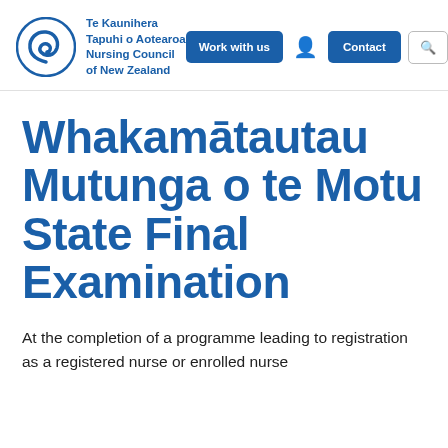[Figure (logo): Te Kaunihera Tapuhi o Aotearoa Nursing Council of New Zealand logo with blue koru spiral and text]
Te Kaunihera Tapuhi o Aotearoa Nursing Council of New Zealand | Work with us | Contact | Search | MENU
Whakamātautau Mutunga o te Motu State Final Examination
At the completion of a programme leading to registration as a registered nurse or enrolled nurse